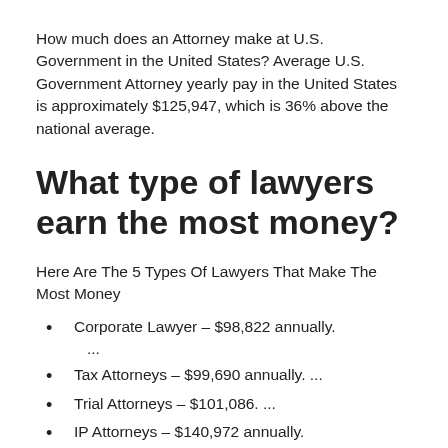How much does an Attorney make at U.S. Government in the United States? Average U.S. Government Attorney yearly pay in the United States is approximately $125,947, which is 36% above the national average.
What type of lawyers earn the most money?
Here Are The 5 Types Of Lawyers That Make The Most Money
Corporate Lawyer – $98,822 annually. ...
Tax Attorneys – $99,690 annually. ...
Trial Attorneys – $101,086. ...
IP Attorneys – $140,972 annually.